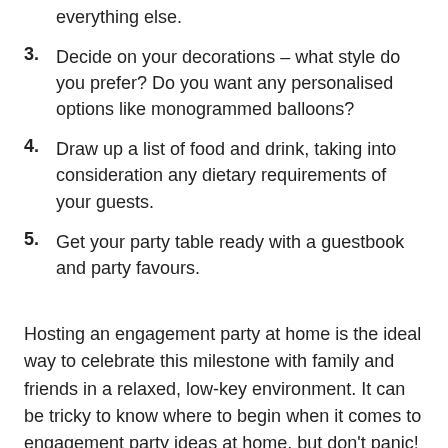everything else.
3. Decide on your decorations – what style do you prefer? Do you want any personalised options like monogrammed balloons?
4. Draw up a list of food and drink, taking into consideration any dietary requirements of your guests.
5. Get your party table ready with a guestbook and party favours.
Hosting an engagement party at home is the ideal way to celebrate this milestone with family and friends in a relaxed, low-key environment. It can be tricky to know where to begin when it comes to engagement party ideas at home, but don't panic!